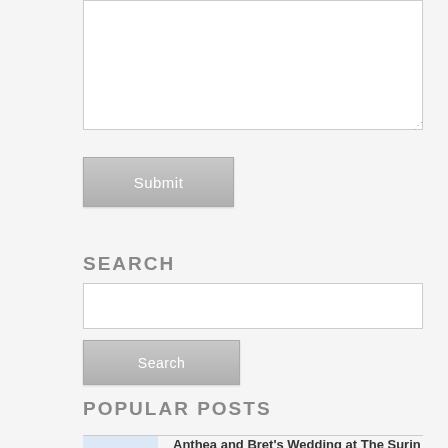[Figure (screenshot): A textarea input box, empty, with a resize handle in the bottom-right corner.]
Submit
SEARCH
[Figure (screenshot): A search text input field, empty.]
Search
POPULAR POSTS
Anthea and Bret's Wedding at The Surin
They where a match made in heaven, and their day couldn't have went more perfect.